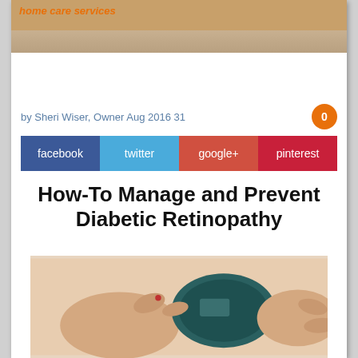home care services
by Sheri Wiser, Owner Aug 2016 31
facebook  twitter  google+  pinterest
How-To Manage and Prevent Diabetic Retinopathy
[Figure (photo): Hands using a blood glucose meter, with a finger being pricked to test blood sugar levels.]